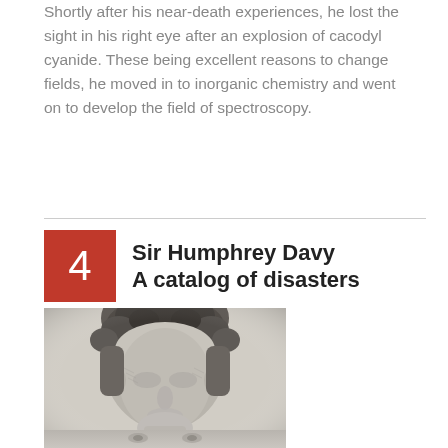Shortly after his near-death experiences, he lost the sight in his right eye after an explosion of cacodyl cyanide. These being excellent reasons to change fields, he moved in to inorganic chemistry and went on to develop the field of spectroscopy.
4 Sir Humphrey Davy
A catalog of disasters
[Figure (illustration): Black and white engraving/portrait of Sir Humphrey Davy showing his head and upper body, rendered in a classic 19th-century etching style.]